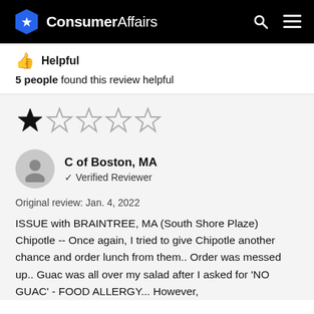ConsumerAffairs
👍 Helpful
5 people found this review helpful
[Figure (other): 1 out of 5 stars rating — one filled star and four empty stars]
C of Boston, MA
✓ Verified Reviewer
Original review: Jan. 4, 2022
ISSUE with BRAINTREE, MA (South Shore Plaze) Chipotle -- Once again, I tried to give Chipotle another chance and order lunch from them.. Order was messed up.. Guac was all over my salad after I asked for 'NO GUAC' - FOOD ALLERGY... However,